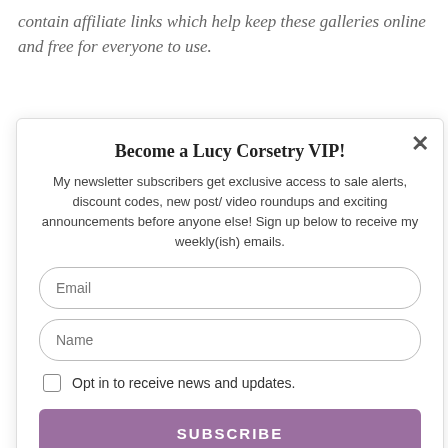contain affiliate links which help keep these galleries online and free for everyone to use.
Become a Lucy Corsetry VIP!
My newsletter subscribers get exclusive access to sale alerts, discount codes, new post/ video roundups and exciting announcements before anyone else! Sign up below to receive my weekly(ish) emails.
Email
Name
Opt in to receive news and updates.
SUBSCRIBE